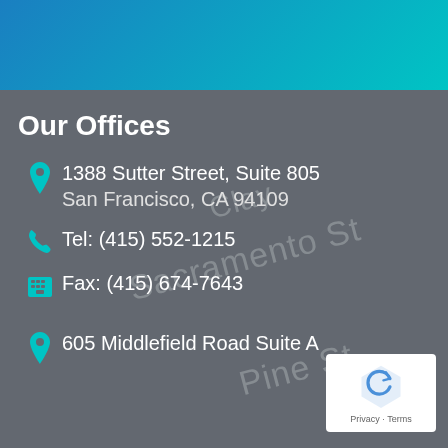[Figure (map): Dark grey street map background showing Sacramento St, Clay, and Pine St street labels]
Our Offices
1388 Sutter Street, Suite 805
San Francisco, CA 94109
Tel: (415) 552-1215
Fax: (415) 674-7643
605 Middlefield Road Suite A